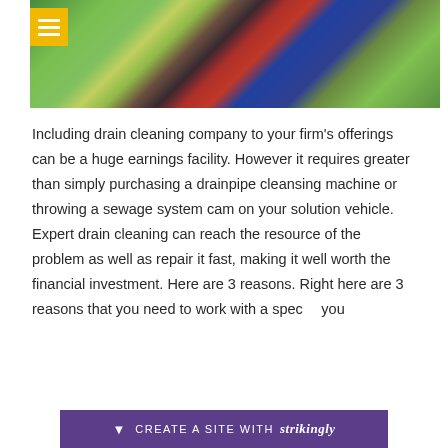[Figure (photo): A person in denim overalls and red plaid shirt lying on a green tiled floor with plumbing/drain cleaning tools]
Including drain cleaning company to your firm's offerings can be a huge earnings facility. However it requires greater than simply purchasing a drainpipe cleansing machine or throwing a sewage system cam on your solution vehicle. Expert drain cleaning can reach the resource of the problem as well as repair it fast, making it well worth the financial investment. Here are 3 reasons. Right here are 3 reasons that you need to work with a spec[ialist] you
[Figure (other): Strikingly website builder promotional bar at the bottom: CREATE A SITE WITH strikingly]